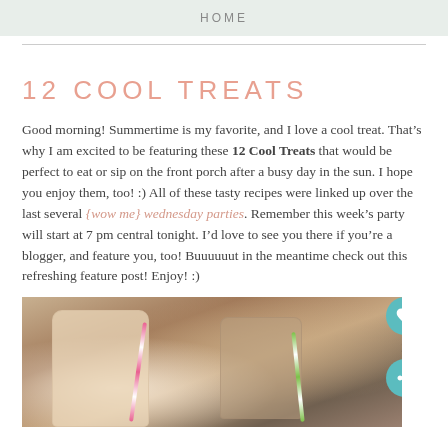HOME
12 COOL TREATS
Good morning! Summertime is my favorite, and I love a cool treat. That’s why I am excited to be featuring these 12 Cool Treats that would be perfect to eat or sip on the front porch after a busy day in the sun. I hope you enjoy them, too! :) All of these tasty recipes were linked up over the last several {wow me} wednesday parties. Remember this week’s party will start at 7 pm central tonight. I’d love to see you there if you’re a blogger, and feature you, too! Buuuuuut in the meantime check out this refreshing feature post! Enjoy! :)
[Figure (photo): Photo of mason jars with cool drinks and pink/green striped straws on a wooden surface]